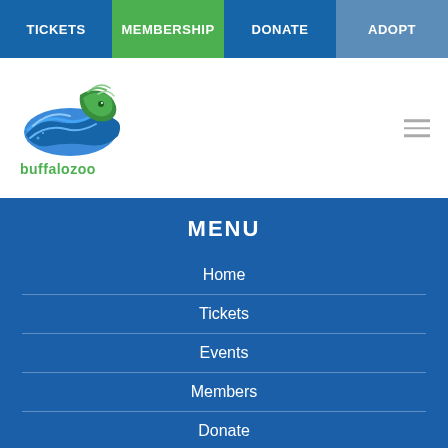TICKETS | MEMBERSHIP | DONATE | ADOPT
[Figure (logo): Buffalo Zoo logo — stylized bison/lion head in blue and green waves, with text 'buffalozoo' below in green]
MENU
Home
Tickets
Events
Members
Donate
Sponsor
Animals
Experiences